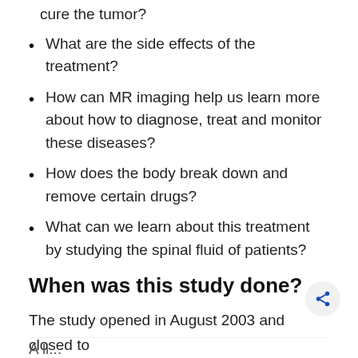cure the tumor?
What are the side effects of the treatment?
How can MR imaging help us learn more about how to diagnose, treat and monitor these diseases?
How does the body break down and remove certain drugs?
What can we learn about this treatment by studying the spinal fluid of patients?
When was this study done?
The study opened in August 2003 and closed to accrual in March 2013.
A li...